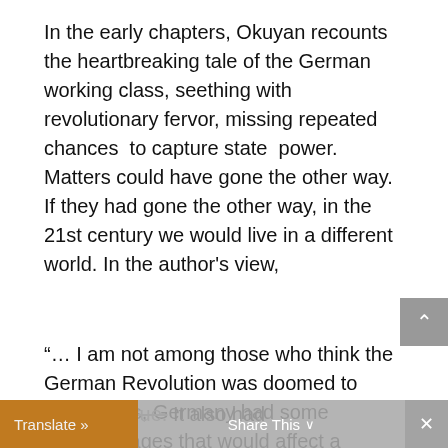In the early chapters, Okuyan recounts the heartbreaking tale of the German working class, seething with revolutionary fervor, missing repeated chances  to capture state  power. Matters could have gone the other way. If they had gone the other way, in the 21st century we would live in a different world. In the author's view,
“... I am not among those who think the German Revolution was doomed to failure. Yes, Germany had some disadvantages that would affect a socialist revolution,  but was also true. It also had
Translate »  Share This ∨  ×